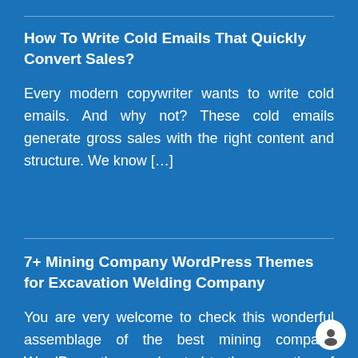How To Write Cold Emails That Quickly Convert Sales?
Every modern copywriter wants to write cold emails. And why not? These cold emails generate gross sales with the right content and structure. We know […]
7+ Mining Company WordPress Themes for Excavation Welding Company
You are very welcome to check this wonderful assemblage of the best mining company WordPress themes devoted to the promotion of mining and excavation, welding […]